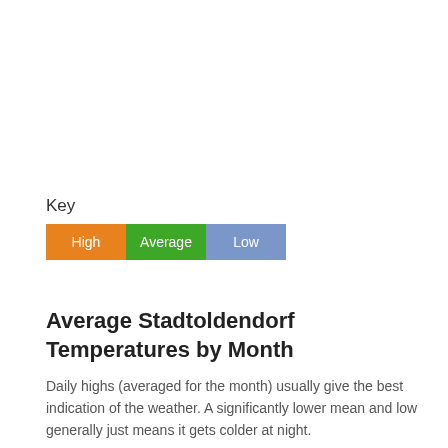Key
[Figure (infographic): Legend key showing three colored boxes: High (orange), Average (green), Low (blue/purple)]
Average Stadtoldendorf Temperatures by Month
Daily highs (averaged for the month) usually give the best indication of the weather. A significantly lower mean and low generally just means it gets colder at night.